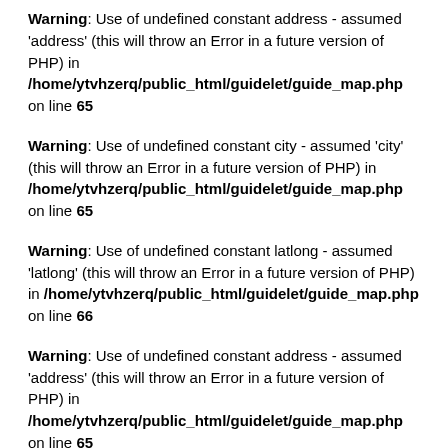Warning: Use of undefined constant address - assumed 'address' (this will throw an Error in a future version of PHP) in /home/ytvhzerq/public_html/guidelet/guide_map.php on line 65
Warning: Use of undefined constant city - assumed 'city' (this will throw an Error in a future version of PHP) in /home/ytvhzerq/public_html/guidelet/guide_map.php on line 65
Warning: Use of undefined constant latlong - assumed 'latlong' (this will throw an Error in a future version of PHP) in /home/ytvhzerq/public_html/guidelet/guide_map.php on line 66
Warning: Use of undefined constant address - assumed 'address' (this will throw an Error in a future version of PHP) in /home/ytvhzerq/public_html/guidelet/guide_map.php on line 65
Warning: Use of undefined constant city - assumed 'city' (this will throw an Error in a future version of PHP) in /home/ytvhzerq/public_html/guidelet/guide_map.php on line